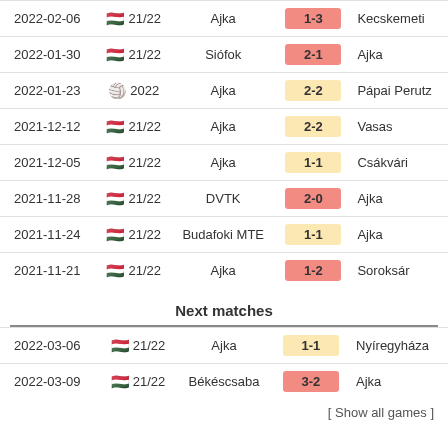| Date | Competition | Home | Score | Away |
| --- | --- | --- | --- | --- |
| 2022-02-06 | 🇭🇺 21/22 | Ajka | 1-3 | Kecskemeti |
| 2022-01-30 | 🇭🇺 21/22 | Siófok | 2-1 | Ajka |
| 2022-01-23 | 🏐 2022 | Ajka | 2-2 | Pápai Perutz |
| 2021-12-12 | 🇭🇺 21/22 | Ajka | 2-2 | Vasas |
| 2021-12-05 | 🇭🇺 21/22 | Ajka | 1-1 | Csákvári |
| 2021-11-28 | 🇭🇺 21/22 | DVTK | 2-0 | Ajka |
| 2021-11-24 | 🇭🇺 21/22 | Budafoki MTE | 1-1 | Ajka |
| 2021-11-21 | 🇭🇺 21/22 | Ajka | 1-2 | Soroksár |
Next matches
| Date | Competition | Home | Score | Away |
| --- | --- | --- | --- | --- |
| 2022-03-06 | 🇭🇺 21/22 | Ajka | 1-1 | Nyíregyháza |
| 2022-03-09 | 🇭🇺 21/22 | Békéscsaba | 3-2 | Ajka |
[ Show all games ]